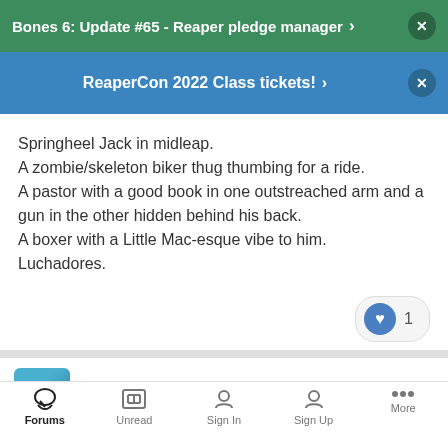Bones 6: Update #65 - Reaper pledge manager
ReaperCon 2022 Class tickets!
Springheel Jack in midleap.
A zombie/skeleton biker thug thumbing for a ride.
A pastor with a good book in one outstreached arm and a gun in the other hidden behind his back.
A boxer with a Little Mac-esque vibe to him.
Luchadores.
1
cloudshaper2k
Forums  Unread  Sign In  Sign Up  More